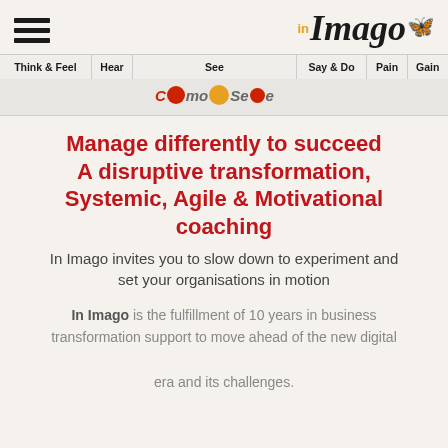in Imago
| Think & Feel | Hear | See | Say & Do | Pain | Gain |
| --- | --- | --- | --- | --- | --- |
|  |  | ComoSense |  |  |  |
Manage differently to succeed
A disruptive transformation,
Systemic, Agile & Motivational coaching
In Imago invites you to slow down to experiment and set your organisations in motion
In Imago is the fulfillment of 10 years in business transformation support to move ahead of the new digital era and its challenges.